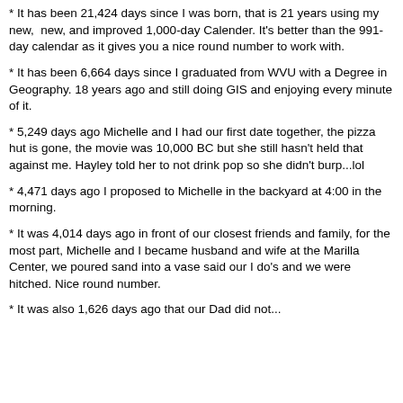* It has been 21,424 days since I was born, that is 21 years using my new,  new, and improved 1,000-day Calender. It's better than the 991-day calendar as it gives you a nice round number to work with.
* It has been 6,664 days since I graduated from WVU with a Degree in Geography. 18 years ago and still doing GIS and enjoying every minute of it.
* 5,249 days ago Michelle and I had our first date together, the pizza hut is gone, the movie was 10,000 BC but she still hasn't held that against me. Hayley told her to not drink pop so she didn't burp...lol
* 4,471 days ago I proposed to Michelle in the backyard at 4:00 in the morning.
* It was 4,014 days ago in front of our closest friends and family, for the most part, Michelle and I became husband and wife at the Marilla Center, we poured sand into a vase said our I do's and we were hitched. Nice round number.
* It was also 1,626 days ago that our Dad did not...